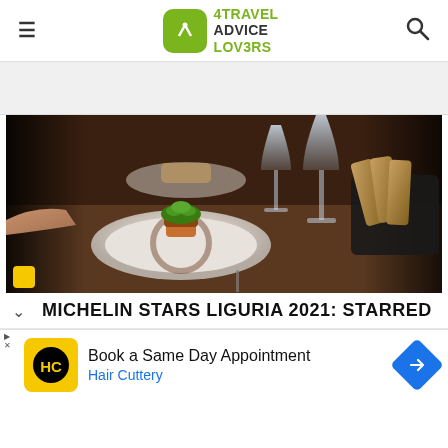4Travel Advice Lovers (website header with logo, hamburger menu, and search icon)
[Figure (photo): Restaurant dining scene with a hand placing a gourmet dish on a plate with garnish, wine glasses and bread basket in background, dark moody atmosphere]
MICHELIN STARS LIGURIA 2021: STARRED
[Figure (other): Advertisement banner: Book a Same Day Appointment - Hair Cuttery, with HC logo in yellow circle on black background, and blue navigation arrow icon]